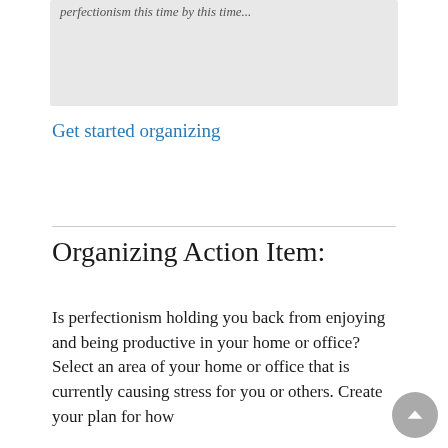[Figure (other): Gray box with partially visible italic text at the top of the page]
Get started organizing
Organizing Action Item:
Is perfectionism holding you back from enjoying and being productive in your home or office? Select an area of your home or office that is currently causing stress for you or others. Create your plan for how